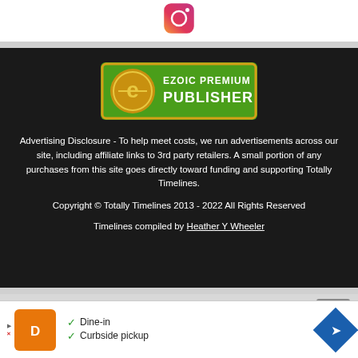[Figure (logo): Instagram app icon — rounded rectangle with gradient pink/orange camera icon]
[Figure (logo): Ezoic Premium Publisher badge — green rectangle with gold border, circular E logo, white text reading EZOIC PREMIUM PUBLISHER]
Advertising Disclosure - To help meet costs, we run advertisements across our site, including affiliate links to 3rd party retailers. A small portion of any purchases from this site goes directly toward funding and supporting Totally Timelines.
Copyright © Totally Timelines 2013 - 2022 All Rights Reserved
Timelines compiled by Heather Y Wheeler
[Figure (infographic): Advertisement strip showing restaurant logo, checkmarks for Dine-in and Curbside pickup, and a navigation arrow icon]